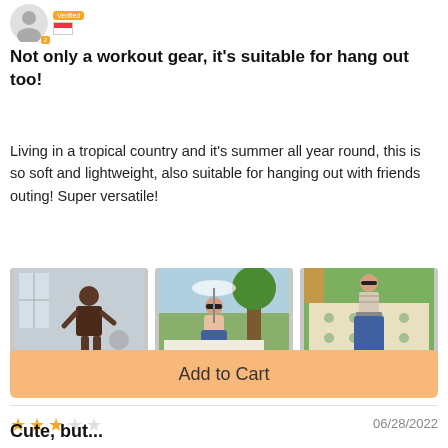[Figure (photo): User avatar with orange badge and Singapore flag]
Not only a workout gear, it's suitable for hang out too!
Living in a tropical country and it's summer all year round, this is so soft and lightweight, also suitable for hanging out with friends outing! Super versatile!
[Figure (photo): Three user-submitted review photos: person in shorts indoors, woman sitting outdoors near tree, woman lying on patterned mat outdoors]
👍 0  👎 0
[Figure (other): 3-star rating (out of 5) and date 06/28/2022]
Add to Cart
Cute, but...